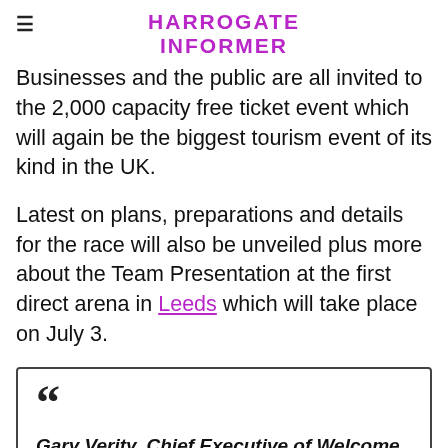HARROGATE INFORMER
Businesses and the public are all invited to the 2,000 capacity free ticket event which will again be the biggest tourism event of its kind in the UK.
Latest on plans, preparations and details for the race will also be unveiled plus more about the Team Presentation at the first direct arena in Leeds which will take place on July 3.
““ Gary Verity, Chief Executive of Welcome to Yorkshire, said: Since 2009, our Y events have heralded the start of the tourism season...